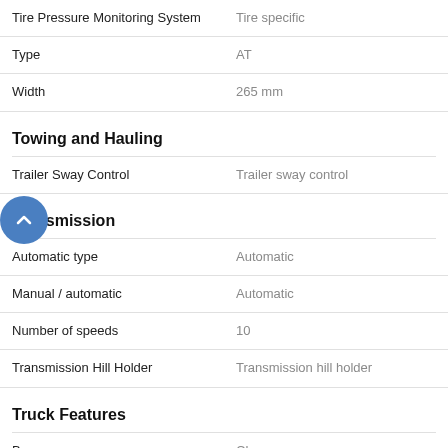| Feature | Value |
| --- | --- |
| Tire Pressure Monitoring System | Tire specific |
| Type | AT |
| Width | 265 mm |
Towing and Hauling
| Feature | Value |
| --- | --- |
| Trailer Sway Control | Trailer sway control |
Transmission
| Feature | Value |
| --- | --- |
| Automatic type | Automatic |
| Manual / automatic | Automatic |
| Number of speeds | 10 |
| Transmission Hill Holder | Transmission hill holder |
Truck Features
| Feature | Value |
| --- | --- |
| Bumpers | Chrome |
| Door reinforcement | Side-impact door beam |
| Pickup Bed Type | Regular |